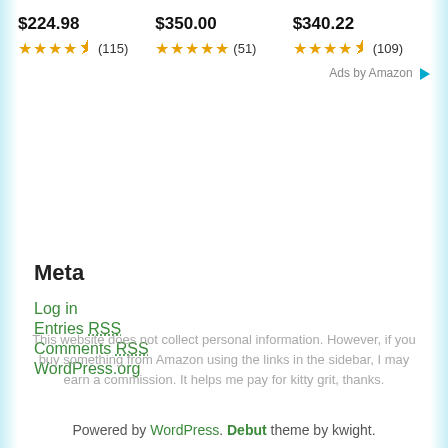$224.98 ★★★★½ (115)
$350.00 ★★★★★ (51)
$340.22 ★★★★½ (109)
Ads by Amazon
Meta
Log in
Entries RSS
Comments RSS
WordPress.org
This website does not collect personal information. However, if you buy something from Amazon using the links in the sidebar, I may earn a commission. It helps me pay for kitty grit, thanks.
Powered by WordPress. Debut theme by kwight.